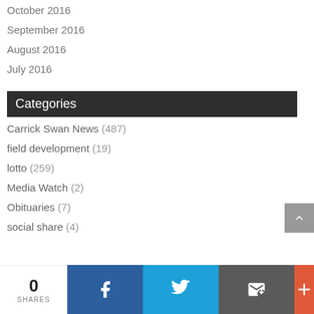October 2016
September 2016
August 2016
July 2016
Categories
Carrick Swan News (487)
field development (19)
lotto (259)
Media Watch (2)
Obituaries (7)
social share (4)
0 SHARES | Facebook | Twitter | Email | More